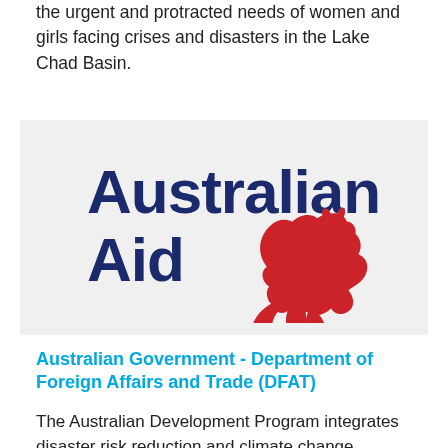the urgent and protracted needs of women and girls facing crises and disasters in the Lake Chad Basin.
[Figure (logo): Australian Aid logo — bold dark navy text 'Australian Aid' with a red kangaroo silhouette on a light grey background]
Australian Government - Department of Foreign Affairs and Trade (DFAT)
The Australian Development Program integrates disaster risk reduction and climate change